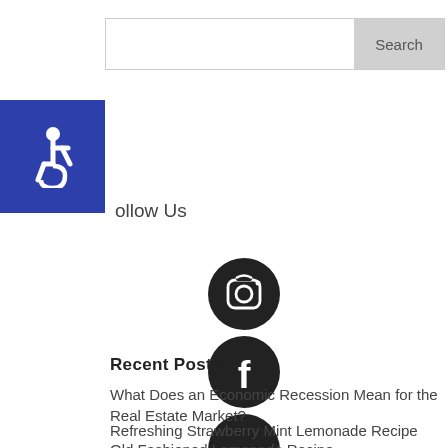[Figure (screenshot): Search bar with text input and Search button]
[Figure (illustration): Blue accessibility icon (wheelchair symbol) button in top-left]
Follow Us
[Figure (illustration): Instagram social media icon - dark circle with camera symbol]
[Figure (illustration): Facebook social media icon - dark circle with f symbol]
[Figure (illustration): Pinterest social media icon - dark circle with P symbol]
[Figure (illustration): Twitter social media icon - dark circle with bird symbol]
[Figure (illustration): Back to top button - grey square with up arrow]
Recent Posts
What Does an Economic Recession Mean for the Real Estate Market?
Refreshing Strawberry Mint Lemonade Recipe
Old Fashioned Lemonade Recipe